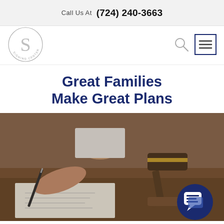Call Us At  (724) 240-3663
[Figure (logo): Stylized S letter logo with circular text around it — law firm logo]
[Figure (other): Search icon (magnifying glass)]
[Figure (other): Hamburger menu icon (three horizontal lines in a bordered box)]
Great Families Make Great Plans
[Figure (photo): Person signing a legal document with a pen; a gavel and another person with clasped hands in the background on a wooden desk. A chat bubble icon overlaid in bottom right corner.]